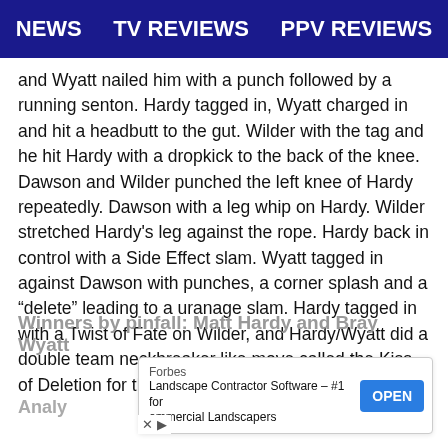NEWS   TV REVIEWS   PPV REVIEWS
and Wyatt nailed him with a punch followed by a running senton. Hardy tagged in, Wyatt charged in and hit a headbutt to the gut. Wilder with the tag and he hit Hardy with a dropkick to the back of the knee. Dawson and Wilder punched the left knee of Hardy repeatedly. Dawson with a leg whip on Hardy. Wilder stretched Hardy’s leg against the rope. Hardy back in control with a Side Effect slam. Wyatt tagged in against Dawson with punches, a corner splash and a “delete” leading to a uranage slam. Hardy tagged in with a Twist of Fate on Wilder, and Hardy/Wyatt did a double team neckbreaker like move called the Kiss of Deletion for the pinfall win after five minutes.
Winners by pinfall: Matt Hardy and Bray Wyatt
Analy...